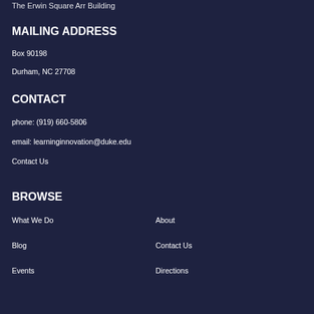The Erwin Square Arr Building
MAILING ADDRESS
Box 90198
Durham, NC 27708
CONTACT
phone: (919) 660-5806
email: learninginnovation@duke.edu
Contact Us
BROWSE
What We Do
About
Blog
Contact Us
Events
Directions